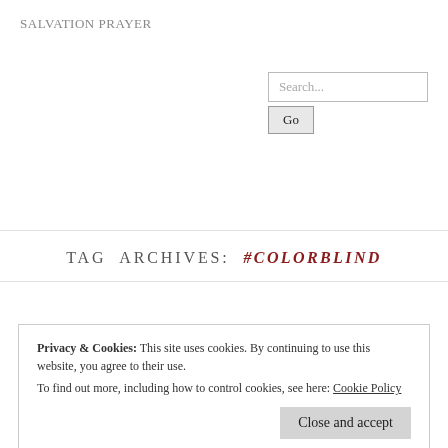SALVATION PRAYER
[Figure (screenshot): Search input box with placeholder 'Search...' and a 'Go' button below it]
TAG ARCHIVES: #COLORBLIND
Privacy & Cookies: This site uses cookies. By continuing to use this website, you agree to their use.
To find out more, including how to control cookies, see here: Cookie Policy
Close and accept